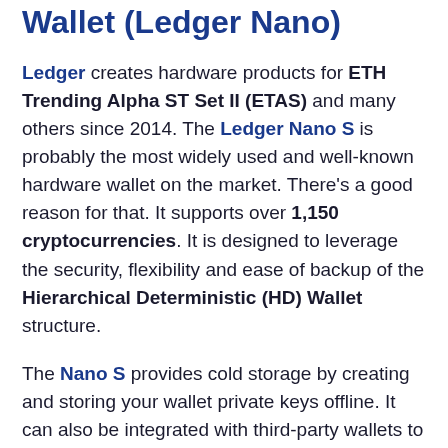Wallet (Ledger Nano)
Ledger creates hardware products for ETH Trending Alpha ST Set II (ETAS) and many others since 2014. The Ledger Nano S is probably the most widely used and well-known hardware wallet on the market. There's a good reason for that. It supports over 1,150 cryptocurrencies. It is designed to leverage the security, flexibility and ease of backup of the Hierarchical Deterministic (HD) Wallet structure.
The Nano S provides cold storage by creating and storing your wallet private keys offline. It can also be integrated with third-party wallets to handle ERC-20 tokens. Ledger has done a lot of marketing around